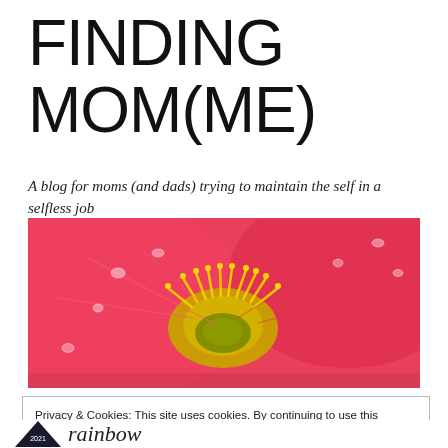FINDING MOM(ME)
A blog for moms (and dads) trying to maintain the self in a selfless job
[Figure (photo): Close-up photograph of a pink flower with yellow stamen and water droplets on petals]
Privacy & Cookies: This site uses cookies. By continuing to use this website, you agree to their use.
To find out more, including how to control cookies, see here: Cookie Policy
Close and accept
2021  rainbow